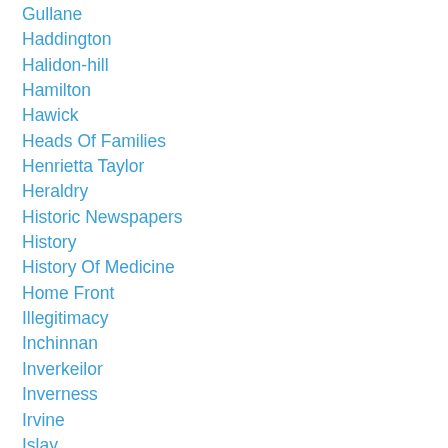Gullane
Haddington
Halidon-hill
Hamilton
Hawick
Heads Of Families
Henrietta Taylor
Heraldry
Historic Newspapers
History
History Of Medicine
Home Front
Illegitimacy
Inchinnan
Inverkeilor
Inverness
Irvine
Islay
Jacobites
Jamaica
Jewish